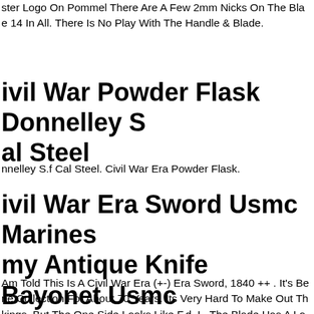ster Logo On Pommel There Are A Few 2mm Nicks On The Blade 14 In All. There Is No Play With The Handle & Blade.
ivil War Powder Flask Donnelley S al Steel
nnelley S.f Cal Steel. Civil War Era Powder Flask.
ivil War Era Sword Usmc Marines my Antique Knife Bayonet Usmc litary Origin
Am Told This Is A Civil War Era (+-) Era Sword, 1840 ++ . It's Be ne Collection For About 70 Years. Its Very Hard To Make Out Th kings, But The One Side Looks Like F.d. L. The Blade Has A Lo oloration And Imperfection, Which Is Normal For A Sword Of Th .